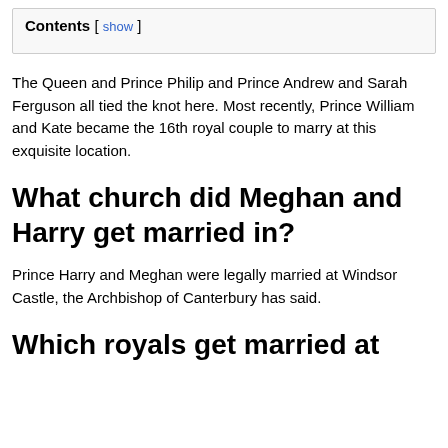| Contents [ show ] |
| --- |
The Queen and Prince Philip and Prince Andrew and Sarah Ferguson all tied the knot here. Most recently, Prince William and Kate became the 16th royal couple to marry at this exquisite location.
What church did Meghan and Harry get married in?
Prince Harry and Meghan were legally married at Windsor Castle, the Archbishop of Canterbury has said.
Which royals get married at